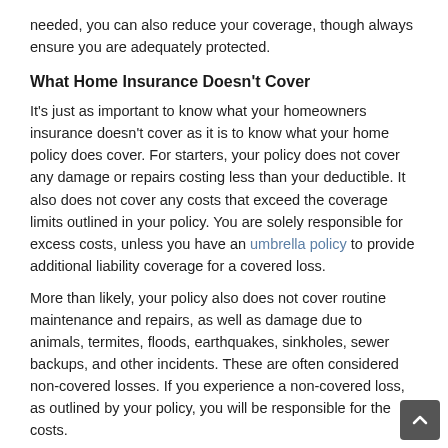needed, you can also reduce your coverage, though always ensure you are adequately protected.
What Home Insurance Doesn't Cover
It's just as important to know what your homeowners insurance doesn't cover as it is to know what your home policy does cover. For starters, your policy does not cover any damage or repairs costing less than your deductible. It also does not cover any costs that exceed the coverage limits outlined in your policy. You are solely responsible for excess costs, unless you have an umbrella policy to provide additional liability coverage for a covered loss.
More than likely, your policy also does not cover routine maintenance and repairs, as well as damage due to animals, termites, floods, earthquakes, sinkholes, sewer backups, and other incidents. These are often considered non-covered losses. If you experience a non-covered loss, as outlined by your policy, you will be responsible for the costs.
What Home Insurance May Cover
Outside of the typical home insurance coverage, optional or separate coverage may be available from your carrier or from a